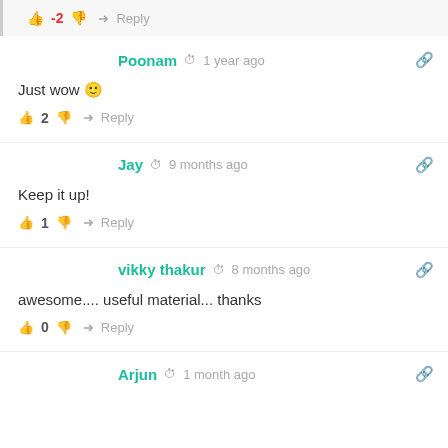👍 -2 👎 ➜ Reply
Poonam ⏱ 1 year ago 🔗
Just wow 🙂
👍 2 👎 ➜ Reply
Jay ⏱ 9 months ago 🔗
Keep it up!
👍 1 👎 ➜ Reply
vikky thakur ⏱ 8 months ago 🔗
awesome.... useful material... thanks
👍 0 👎 ➜ Reply
Arjun ⏱ 1 month ago 🔗